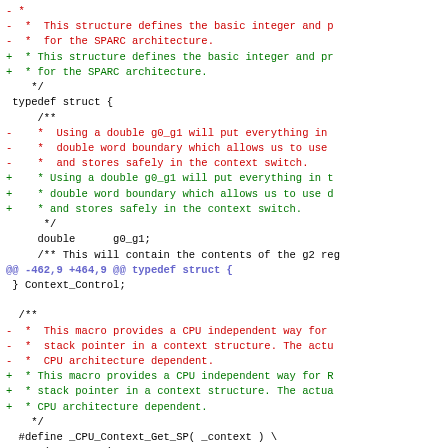[Figure (screenshot): A diff/patch view of C source code for SPARC architecture context structure, showing removed lines in red and added lines in green, with diff hunk headers in blue/cyan, and normal code in black monospace font.]